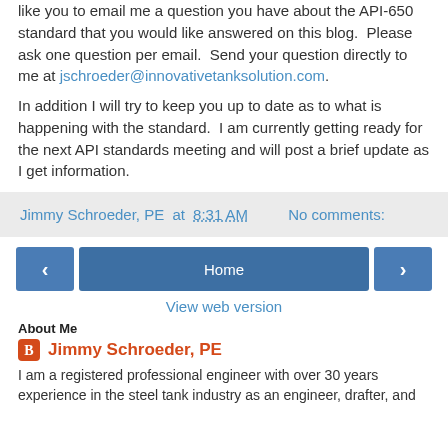like you to email me a question you have about the API-650 standard that you would like answered on this blog.  Please ask one question per email.  Send your question directly to me at jschroeder@innovativetanksolution.com.
In addition I will try to keep you up to date as to what is happening with the standard.  I am currently getting ready for the next API standards meeting and will post a brief update as I get information.
Jimmy Schroeder, PE at 8:31 AM    No comments:
Home
View web version
About Me
Jimmy Schroeder, PE
I am a registered professional engineer with over 30 years experience in the steel tank industry as an engineer, drafter, and